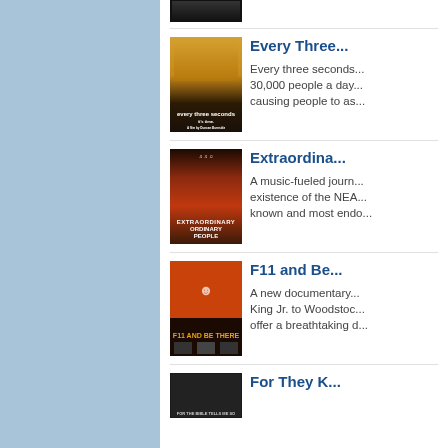[Figure (photo): Light-colored panel on left side of page]
[Figure (photo): Top movie poster thumbnail (partially visible at top)]
Every Three...
Every three seconds... 30,000 people a day... causing people to as...
[Figure (photo): Every Three Seconds movie poster]
Extraordina...
A music-fueled journ... existence of the NEA... known and most endo...
[Figure (photo): Extraordinary Ordinary People movie poster]
F11 and Be...
A new documentary... King Jr. to Woodstoc... offer a breathtaking d...
[Figure (photo): F11 and Be There movie poster]
For They K...
[Figure (photo): For They Know movie poster (partially visible at bottom)]